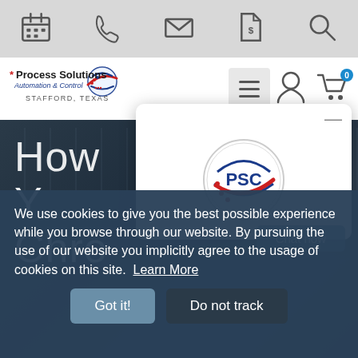[Figure (screenshot): Top navigation icon bar with calendar, phone, mail, dollar document, and search icons on gray background]
[Figure (logo): Process Solutions Automation & Control logo with PSC globe icon, text reading STAFFORD, TEXAS, hamburger menu, user icon, and cart with 0 badge]
[Figure (photo): Hero image of industrial control panel/automation equipment with workers, dark overlay, text reading 'How Y Chro' partially visible]
[Figure (illustration): Chat popup overlay showing PSC circular logo on white card with minus/close button]
We're Online!
Chat now
We use cookies to give you the best possible experience while you browse through our website. By pursuing the use of our website you implicitly agree to the usage of cookies on this site.  Learn More
Got it!
Do not track